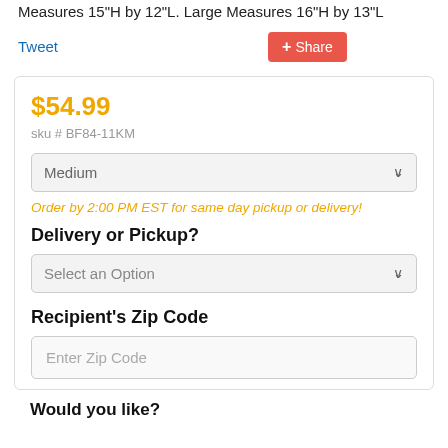Measures 15"H by 12"L. Large Measures 16"H by 13"L
Tweet
+ Share
$54.99
sku # BF84-11KM
Medium
Order by 2:00 PM EST for same day pickup or delivery!
Delivery or Pickup?
Select an Option
Recipient's Zip Code
Enter Zip Code
Would you like?